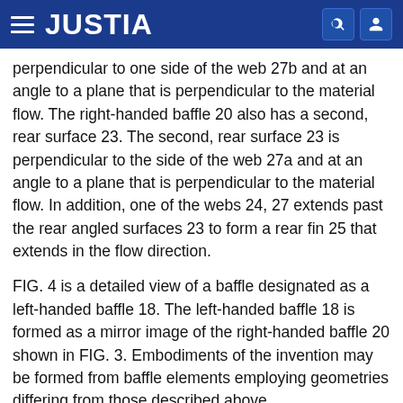JUSTIA
perpendicular to one side of the web 27b and at an angle to a plane that is perpendicular to the material flow. The right-handed baffle 20 also has a second, rear surface 23. The second, rear surface 23 is perpendicular to the side of the web 27a and at an angle to a plane that is perpendicular to the material flow. In addition, one of the webs 24, 27 extends past the rear angled surfaces 23 to form a rear fin 25 that extends in the flow direction.
FIG. 4 is a detailed view of a baffle designated as a left-handed baffle 18. The left-handed baffle 18 is formed as a mirror image of the right-handed baffle 20 shown in FIG. 3. Embodiments of the invention may be formed from baffle elements employing geometries differing from those described above.
Referring to FIGS. 5A, 5B and 5C, an embodiment of a